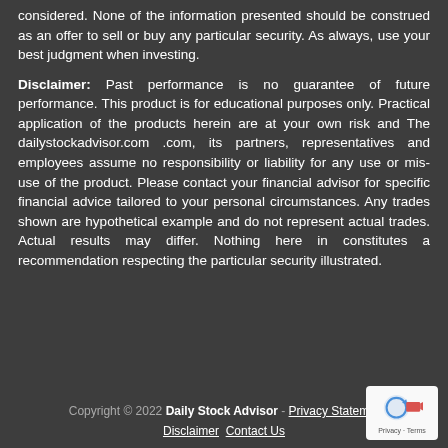considered. None of the information presented should be construed as an offer to sell or buy any particular security. As always, use your best judgment when investing.
Disclaimer: Past performance is no guarantee of future performance. This product is for educational purposes only. Practical application of the products herein are at your own risk and The dailystockadvisor.com .com, its partners, representatives and employees assume no responsibility or liability for any use or mis-use of the product. Please contact your financial advisor for specific financial advice tailored to your personal circumstances. Any trades shown are hypothetical example and do not represent actual trades. Actual results may differ. Nothing here in constitutes a recommendation respecting the particular security illustrated.
Copyright © 2022 Daily Stock Advisor - Privacy Statement Disclaimer Contact Us